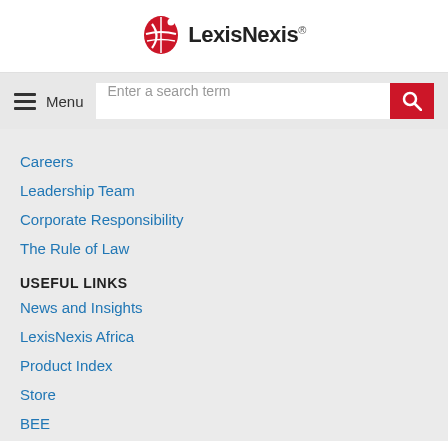[Figure (logo): LexisNexis logo with red globe icon and bold text]
[Figure (screenshot): Navigation bar with hamburger menu icon labeled Menu and a search input field with red search button]
Careers
Leadership Team
Corporate Responsibility
The Rule of Law
USEFUL LINKS
News and Insights
LexisNexis Africa
Product Index
Store
BEE